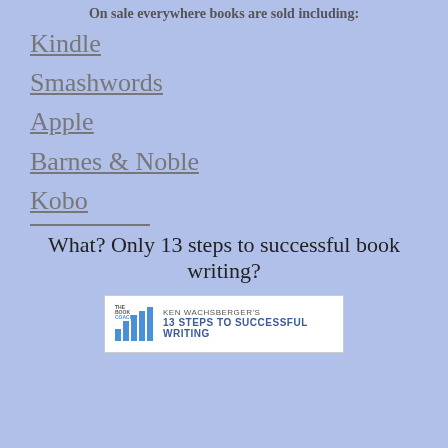On sale everywhere books are sold including:
Kindle
Smashwords
Apple
Barnes & Noble
Kobo
What? Only 13 steps to successful book writing?
[Figure (illustration): Book cover banner for 'Ken Wachsberger's 13 Steps to Successful Writing' with The Book Coach logo showing bar chart icon]